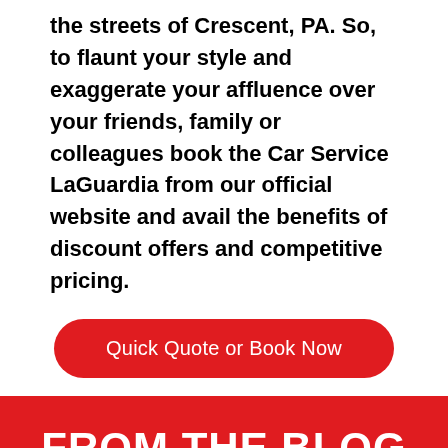the streets of Crescent, PA. So, to flaunt your style and exaggerate your affluence over your friends, family or colleagues book the Car Service LaGuardia from our official website and avail the benefits of discount offers and competitive pricing.
Quick Quote or Book Now
FROM THE BLOG
[Figure (photo): A beach scene with a person sitting under a blue umbrella, partially visible at the bottom of the red section.]